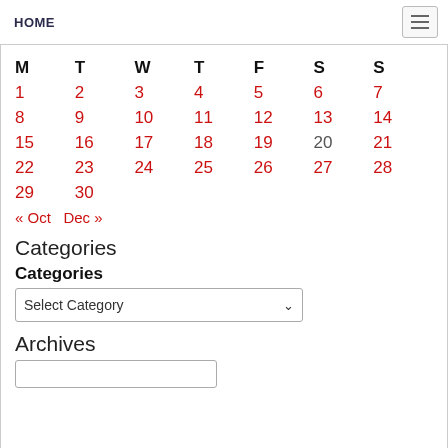HOME
| M | T | W | T | F | S | S |
| --- | --- | --- | --- | --- | --- | --- |
| 1 | 2 | 3 | 4 | 5 | 6 | 7 |
| 8 | 9 | 10 | 11 | 12 | 13 | 14 |
| 15 | 16 | 17 | 18 | 19 | 20 | 21 |
| 22 | 23 | 24 | 25 | 26 | 27 | 28 |
| 29 | 30 |  |  |  |  |  |
« Oct   Dec »
Categories
Categories
Select Category
Archives